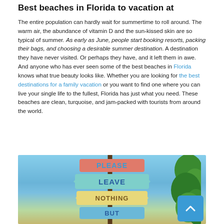Best beaches in Florida to vacation at
The entire population can hardly wait for summertime to roll around. The warm air, the abundance of vitamin D and the sun-kissed skin are so typical of summer. As early as June, people start booking resorts, packing their bags, and choosing a desirable summer destination. A destination they have never visited. Or perhaps they have, and it left them in awe. And anyone who has ever seen some of the best beaches in Florida knows what true beauty looks like. Whether you are looking for the best destinations for a family vacation or you want to find one where you can live your single life to the fullest, Florida has just what you need. These beaches are clean, turquoise, and jam-packed with tourists from around the world.
[Figure (photo): Outdoor wooden signs stacked on a post reading PLEASE, LEAVE, NOTHING, BUT against a blue sky background with tropical foliage on the right side.]